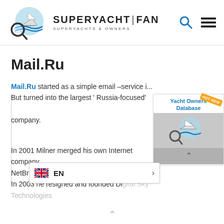SUPERYACHT | FAN — SUPERYACHTS & OWNERS
Mail.Ru
Mail.Ru started as a simple email –service i... But turned into the largest ' Russia-focused' company.
[Figure (other): Yacht Owners Database advertisement with superyacht fan logo image and scroll button]
In 2001 Milner merged his own Internet company, NetBridge with Mail.ru. He became ... In 2003 he resigned and founded Digital Sky Technologies.
[Figure (other): Language selector bar showing UK flag and EN label with right arrow chevron]